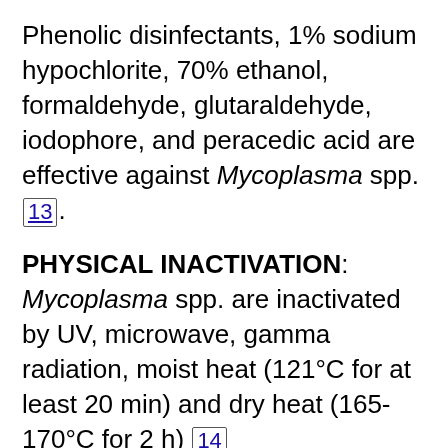Phenolic disinfectants, 1% sodium hypochlorite, 70% ethanol, formaldehyde, glutaraldehyde, iodophore, and peracedic acid are effective against Mycoplasma spp. [13].
PHYSICAL INACTIVATION: Mycoplasma spp. are inactivated by UV, microwave, gamma radiation, moist heat (121°C for at least 20 min) and dry heat (165-170°C for 2 h) [14] [15] [16] [17].
SURVIVAL OUTSIDE HOST: If protected from evaporation, Mycoplasma spp. can survive for one hour in liquid specimen [18].